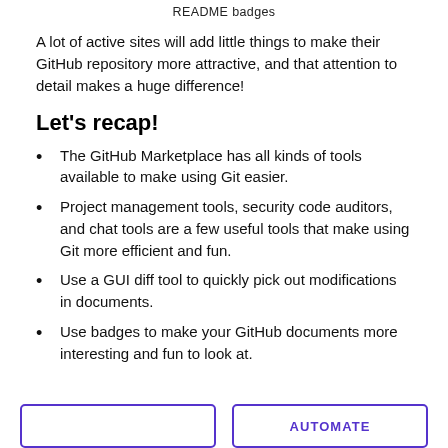README badges
A lot of active sites will add little things to make their GitHub repository more attractive, and that attention to detail makes a huge difference!
Let's recap!
The GitHub Marketplace has all kinds of tools available to make using Git easier.
Project management tools, security code auditors, and chat tools are a few useful tools that make using Git more efficient and fun.
Use a GUI diff tool to quickly pick out modifications in documents.
Use badges to make your GitHub documents more interesting and fun to look at.